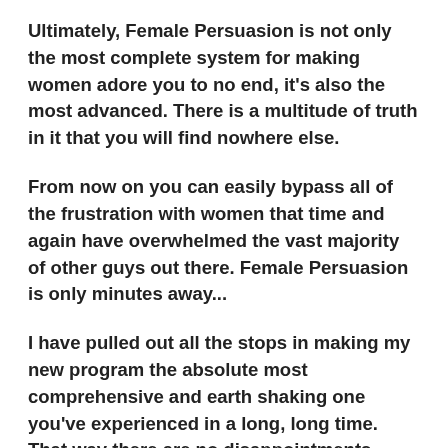Ultimately, Female Persuasion is not only the most complete system for making women adore you to no end, it's also the most advanced. There is a multitude of truth in it that you will find nowhere else.
From now on you can easily bypass all of the frustration with women that time and again have overwhelmed the vast majority of other guys out there. Female Persuasion is only minutes away...
I have pulled out all the stops in making my new program the absolute most comprehensive and earth shaking one you've experienced in a long, long time. That way there are no disappointments. Because I stand behind that claim 100%, every copy of Female Persuasion comes with an ironclad 60-day guarantee.
All the risk is on me thanks to that 100% money-back